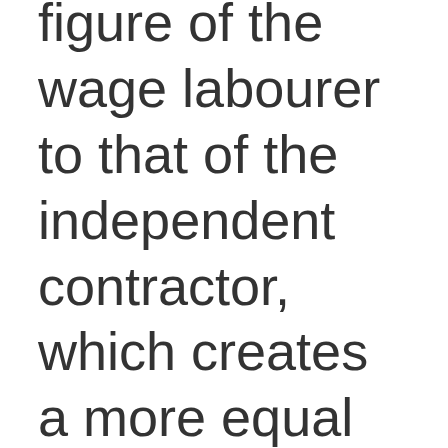figure of the wage labourer to that of the independent contractor, which creates a more equal bargaining position from